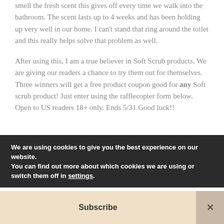smell the fresh scent this gives off every time we walk into the bathroom. The scent lasts up to 4 weeks and has been holding up very well in our home. I can't stand that ring around the toilet and this really helps solve that problem as well.

After using this, I am a true believer in Soft Scrub products. We are giving our readers a chance to try them out for themselves. Three winners will get a free product coupon good for any Soft scrub product! Just enter using the rafflecopter form below. Open to US readers 18+ only. Ends 5/31 Good luck!!
We are using cookies to give you the best experience on our website.
You can find out more about which cookies we are using or switch them off in settings.
Subscribe